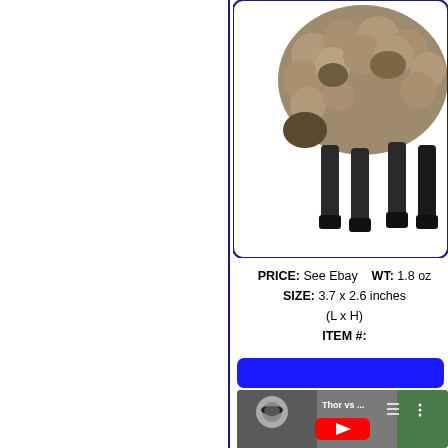[Figure (photo): Partial view of a sheep/ram figurine (toy animal) with woolly brown/grey body and black legs, shown from behind/side. The image is cropped at the top.]
PRICE: See Ebay   WT: 1.8 oz
SIZE: 3.7 x 2.6 inches (L x H)
ITEM #:
[Figure (logo): Green stylized italic letter 'm' logo (item number placeholder)]
[Figure (logo): LIMITED STOCK badge (black border, monospace text) next to eBay store logo]
[Figure (screenshot): Blue rounded rectangle banner/button]
[Figure (screenshot): YouTube video thumbnail showing a raccoon on the left, title 'Thor vs ...' with menu icons, and a red YouTube play button in the center]